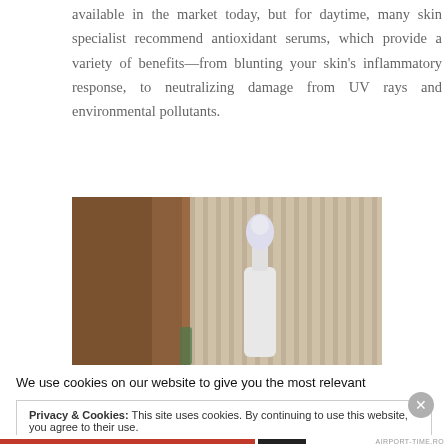available in the market today, but for daytime, many skin specialist recommend antioxidant serums, which provide a variety of benefits—from blunting your skin's inflammatory response, to neutralizing damage from UV rays and environmental pollutants.
[Figure (photo): Photo of a skincare dropper bottle with white dropper tip, set against a ribbed beige/cream curtain background, with a dark brown wooden surface on the left side.]
We use cookies on our website to give you the most relevant
Privacy & Cookies: This site uses cookies. By continuing to use this website, you agree to their use.
To find out more, including how to control cookies, see here: Cookie Policy
Close and accept
AIRPORT-TIME.RO